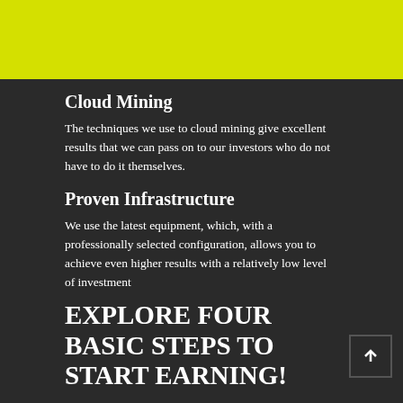[Figure (other): Yellow/lime colored banner bar at top of page]
Cloud Mining
The techniques we use to cloud mining give excellent results that we can pass on to our investors who do not have to do it themselves.
Proven Infrastructure
We use the latest equipment, which, with a professionally selected configuration, allows you to achieve even higher results with a relatively low level of investment
EXPLORE FOUR BASIC STEPS TO START EARNING!
How C-BIT Works?
SIGN UP